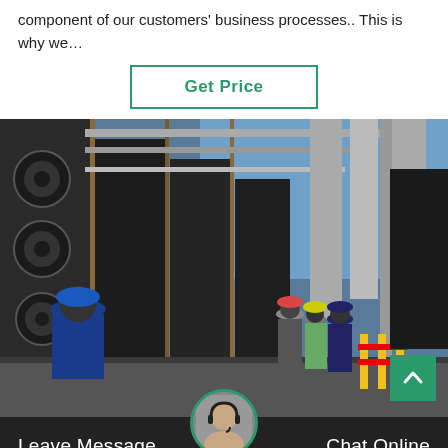component of our customers' business processes.. This is why we…
Get Price
[Figure (photo): Industrial plant interior with large pipes, tanks, scaffolding, and workers wearing hard hats and safety gear walking through the facility.]
Leave Message   Chat Online